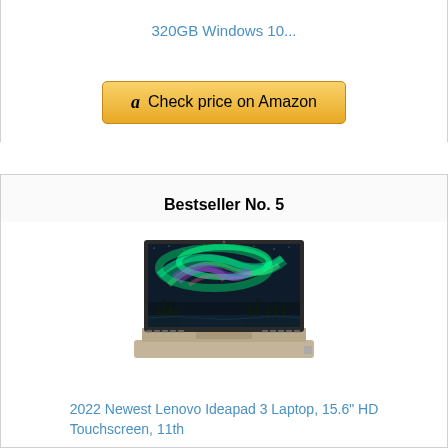320GB Windows 10...
[Figure (other): Amazon Check price button with Amazon logo]
Bestseller No. 5
[Figure (photo): Lenovo Ideapad 3 laptop open showing northern lights wallpaper on screen, sandy/beige color]
2022 Newest Lenovo Ideapad 3 Laptop, 15.6" HD Touchscreen, 11th